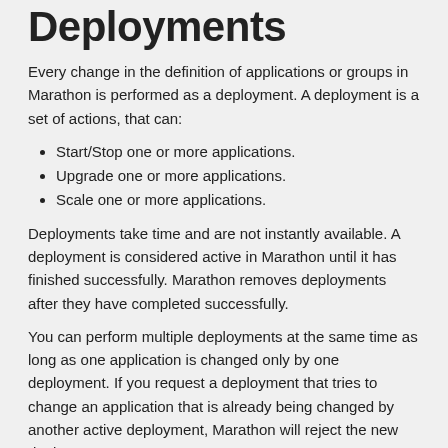Deployments
Every change in the definition of applications or groups in Marathon is performed as a deployment. A deployment is a set of actions, that can:
Start/Stop one or more applications.
Upgrade one or more applications.
Scale one or more applications.
Deployments take time and are not instantly available. A deployment is considered active in Marathon until it has finished successfully. Marathon removes deployments after they have completed successfully.
You can perform multiple deployments at the same time as long as one application is changed only by one deployment. If you request a deployment that tries to change an application that is already being changed by another active deployment, Marathon will reject the new deployment.